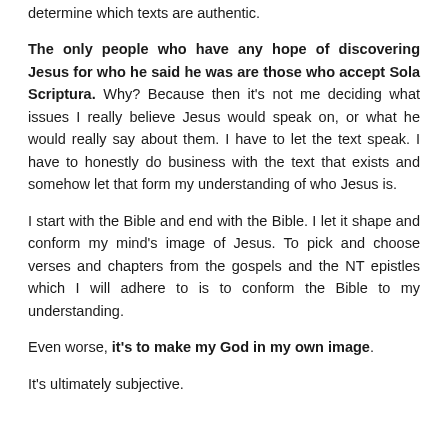determine which texts are authentic.
The only people who have any hope of discovering Jesus for who he said he was are those who accept Sola Scriptura. Why? Because then it's not me deciding what issues I really believe Jesus would speak on, or what he would really say about them. I have to let the text speak. I have to honestly do business with the text that exists and somehow let that form my understanding of who Jesus is.
I start with the Bible and end with the Bible. I let it shape and conform my mind's image of Jesus. To pick and choose verses and chapters from the gospels and the NT epistles which I will adhere to is to conform the Bible to my understanding.
Even worse, it's to make my God in my own image.
It's ultimately subjective.